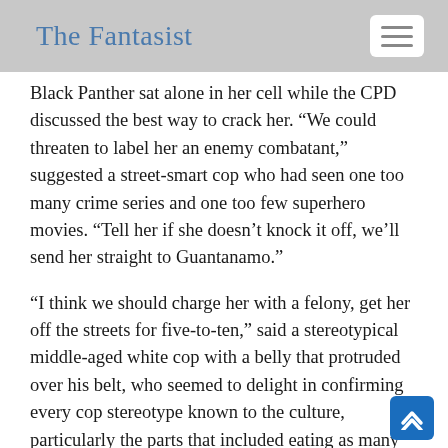The Fantasist
Black Panther sat alone in her cell while the CPD discussed the best way to crack her. “We could threaten to label her an enemy combatant,” suggested a street-smart cop who had seen one too many crime series and one too few superhero movies. “Tell her if she doesn’t knock it off, we’ll send her straight to Guantanamo.”
“I think we should charge her with a felony, get her off the streets for five-to-ten,” said a stereotypical middle-aged white cop with a belly that protruded over his belt, who seemed to delight in confirming every cop stereotype known to the culture, particularly the parts that included eating as many hot dogs and donuts as he could during the day and drinking all the whiskey he could hold down at night, the whiskey being the main reason he needed the donuts and hot dogs the next day.